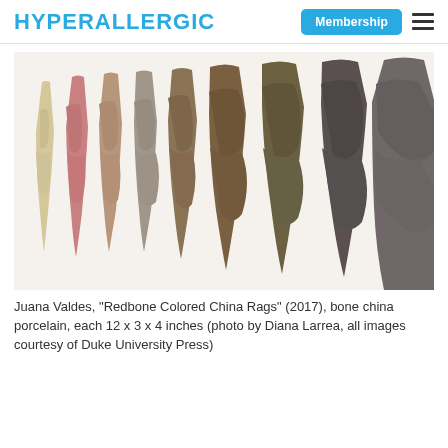HYPERALLERGIC | Membership ≡
[Figure (photo): A row of porcelain fabric-like sculptures in varying earth tones (cream, pink, tan, gray-brown, dark brown, dark gray) hanging on a white wall, graduating in color from light to dark left to right.]
Juana Valdes, "Redbone Colored China Rags" (2017), bone china porcelain, each 12 x 3 x 4 inches (photo by Diana Larrea, all images courtesy of Duke University Press)